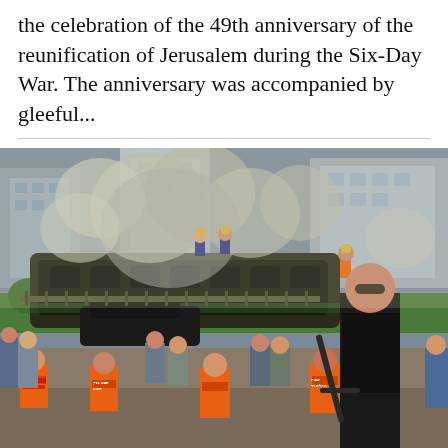the celebration of the 49th anniversary of the reunification of Jerusalem during the Six-Day War. The anniversary was accompanied by gleeful...
[Figure (photo): Scene of a bus bombing aftermath in Jerusalem. A burned-out bus surrounded by smoke, firefighters in yellow helmets on top of the wreckage, emergency responders in orange vests with Hebrew text in the foreground, an armed soldier in black in the right foreground wearing sunglasses and carrying a rifle, and various civilians and security personnel at the scene.]